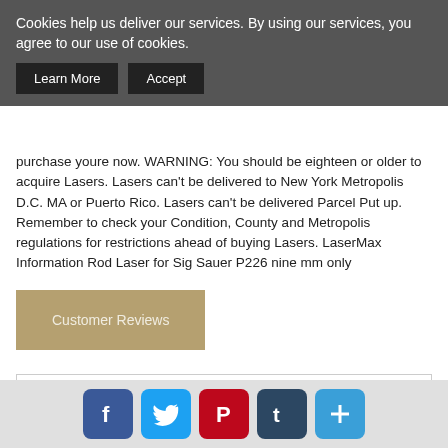Cookies help us deliver our services. By using our services, you agree to our use of cookies.
Learn More | Accept
purchase youre now. WARNING: You should be eighteen or older to acquire Lasers. Lasers can't be delivered to New York Metropolis D.C. MA or Puerto Rico. Lasers can't be delivered Parcel Put up. Remember to check your Condition, County and Metropolis regulations for restrictions ahead of buying Lasers. LaserMax Information Rod Laser for Sig Sauer P226 nine mm only
Customer Reviews
Write a Review
Name
Email Address